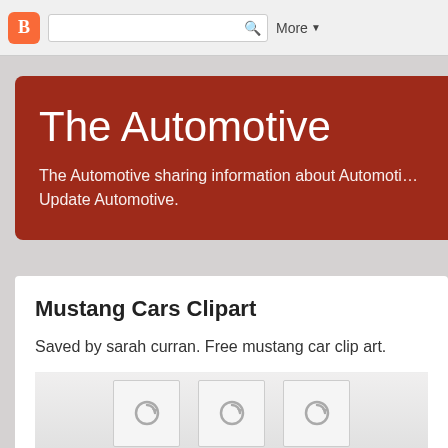Blogger nav bar with search box and More button
The Automotive
The Automotive sharing information about Automotive Update Automotive.
Mustang Cars Clipart
Saved by sarah curran. Free mustang car clip art.
[Figure (screenshot): Blurred thumbnail images at bottom of blog post card]